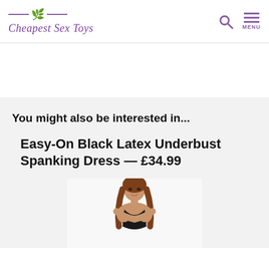Cheapest Sex Toys
You might also be interested in...
Easy-On Black Latex Underbust Spanking Dress — £34.99
[Figure (photo): Photo of a woman with long brown hair posing in a black latex underbust spanking dress, on a white background]